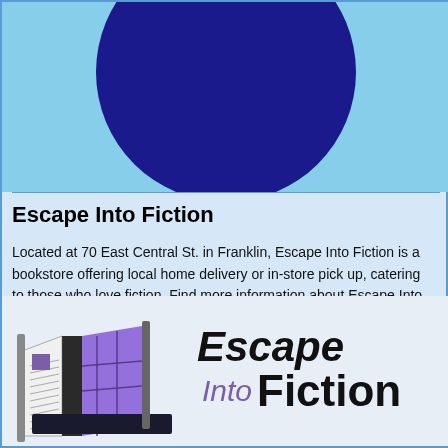[Figure (illustration): Light blue background with a large dark navy circle partially visible at the top center]
Escape Into Fiction
Located at 70 East Central St. in Franklin, Escape Into Fiction is a bookstore offering local home delivery or in-store pick up, catering to those who love fiction. Find more information about Escape Into Fiction on its website or Facebook page.
[Figure (logo): Escape Into Fiction logo with illustrated open book and stylized text reading Escape Into Fiction]